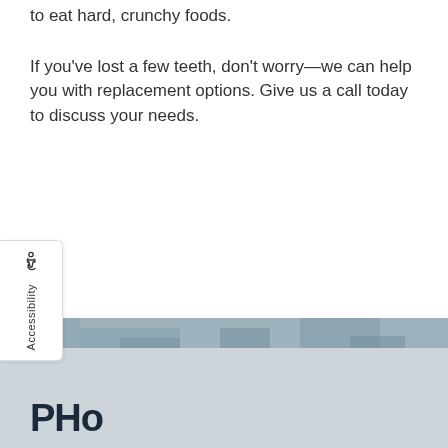to eat hard, crunchy foods.
If you've lost a few teeth, don't worry—we can help you with replacement options. Give us a call today to discuss your needs.
[Figure (other): Accessibility widget on the left side with wheelchair icon and vertical text reading 'Accessibility']
[Figure (photo): Footer image strip with blurred outdoor/building photo in muted blue-gray tones]
PHo